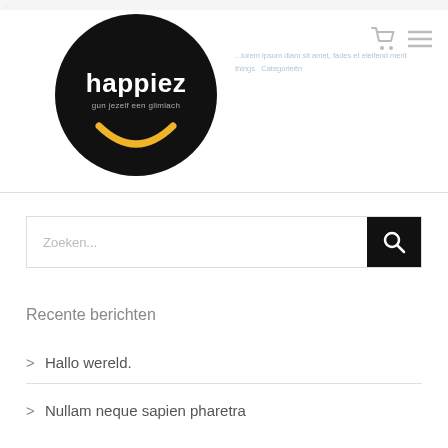...
[Figure (logo): Happiez logo: black circle with white text 'happiez', tagline 'gun jezelf een glimlach' and a yellow smile/arc shape]
Navigation links and icons (cart, menu)
Zoeken...
Recente berichten
> Hallo wereld.
> Nullam neque sapien pharetra